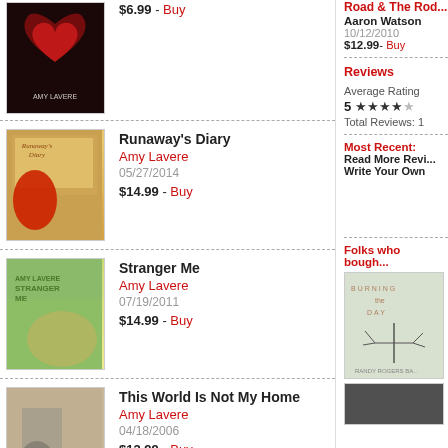[Figure (photo): Album art for first item (partial, top cropped) - dark background with red heart design]
$6.99 - Buy
[Figure (photo): Album art for Runaway's Diary by Amy Lavere - warm golden tones with woman in red]
Runaway's Diary
Amy Lavere
05/27/2014
$14.99 - Buy
[Figure (photo): Album art for Stranger Me by Amy Lavere - green and yellow tones with woman's face]
Stranger Me
Amy Lavere
07/19/2011
$14.99 - Buy
[Figure (photo): Album art for This World Is Not My Home by Amy Lavere - sepia tone]
This World Is Not My Home
Amy Lavere
04/18/2006
$13.99 - Buy
Road & The Rod...
Aaron Watson
10/12/2010
$12.99 - Buy
Reviews
Average Rating
5 ★★★★
Total Reviews: 1
Most Recent:
Read More Revi...
Write Your Own
Folks who bough...
[Figure (photo): Album art - Burning Day, Randy Rogers Band - light green/grey with bare tree]
[Figure (photo): Album art - second recommendation, dark tones]